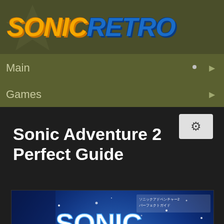SONIC RETRO
Main
Games
Sonic Adventure 2 Perfect Guide
[Figure (photo): Book cover of Sonic Adventure 2 Perfect Guide showing Sonic the Hedgehog running on a blue background with game title text and Japanese subtitle]